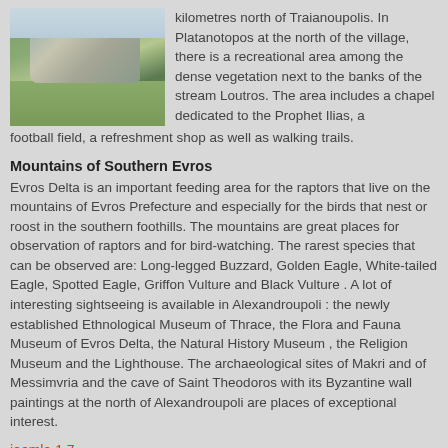[Figure (photo): Landscape photo showing a rocky hill or mountain in the background with green fields in the foreground under a light sky.]
kilometres north of Traianoupolis. In Platanotopos at the north of the village, there is a recreational area among the dense vegetation next to the banks of the stream Loutros. The area includes a chapel dedicated to the Prophet Ilias, a football field, a refreshment shop as well as walking trails.
Mountains of Southern Evros
Evros Delta is an important feeding area for the raptors that live on the mountains of Evros Prefecture and especially for the birds that nest or roost in the southern foothills. The mountains are great places for observation of raptors and for bird-watching. The rarest species that can be observed are: Long-legged Buzzard, Golden Eagle, White-tailed Eagle, Spotted Eagle, Griffon Vulture and Black Vulture . A lot of interesting sightseeing is available in Alexandroupoli : the newly established Ethnological Museum of Thrace, the Flora and Fauna Museum of Evros Delta, the Natural History Museum , the Religion Museum and the Lighthouse. The archaeological sites of Makri and of Messimvria and the cave of Saint Theodoros with its Byzantine wall paintings at the north of Alexandroupoli are places of exceptional interest.
joomla 1.7
Desktop Version Top
You are here: Mediadesign.gr